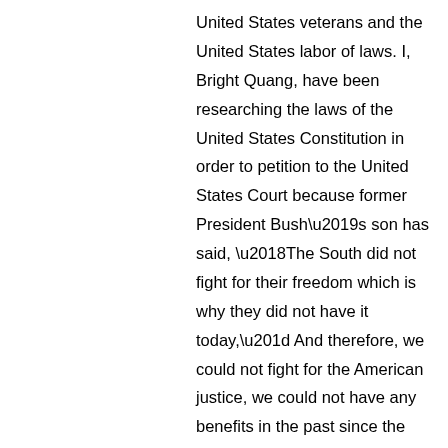United States veterans and the United States labor of laws. I, Bright Quang, have been researching the laws of the United States Constitution in order to petition to the United States Court because former President Bush’s son has said, ‘The South did not fight for their freedom which is why they did not have it today,” And therefore, we could not fight for the American justice, we could not have any benefits in the past since the United States Congress has the one hundred percents approved to the Vietnam War and High House has the eighty percent approved to the Vietnam War. Next, we did not have any healthcare benefits since we had serviced for the United States interests since we were young, we have serviced for the